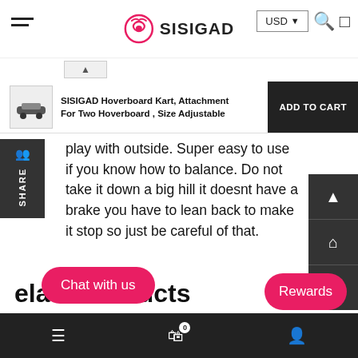SISIGAD — USD — navigation
SISIGAD Hoverboard Kart, Attachment For Two Hoverboard , Size Adjustable
play with outside. Super easy to use if you know how to balance. Do not take it down a big hill it doesnt have a brake you have to lean back to make it stop so just be careful of that.
1  2  3  >  >|
elate Products
Chat with us   0   Rewards